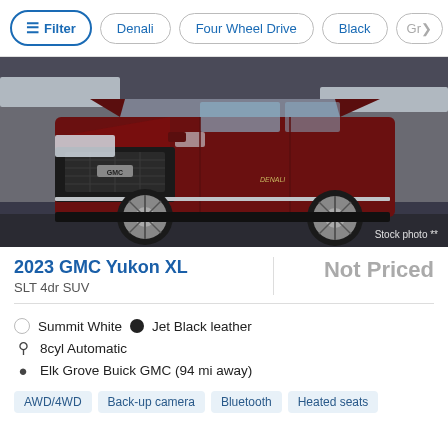Filter | Denali | Four Wheel Drive | Black | Gr>
[Figure (photo): 2023 GMC Yukon XL dark red/maroon SUV parked on wet pavement with snowy rocky background. Stock photo label in bottom right corner.]
2023 GMC Yukon XL
SLT 4dr SUV
Not Priced
Summit White  •  Jet Black leather
8cyl Automatic
Elk Grove Buick GMC (94 mi away)
AWD/4WD
Back-up camera
Bluetooth
Heated seats